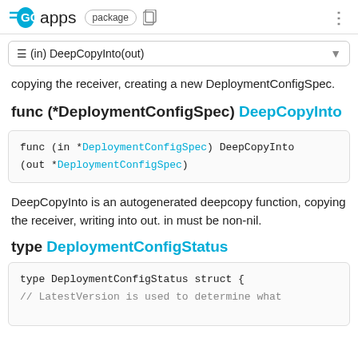GO apps package
☰ (in) DeepCopyInto(out)
copying the receiver, creating a new DeploymentConfigSpec.
func (*DeploymentConfigSpec) DeepCopyInto
[Figure (screenshot): Code block showing: func (in *DeploymentConfigSpec) DeepCopyInto (out *DeploymentConfigSpec)]
DeepCopyInto is an autogenerated deepcopy function, copying the receiver, writing into out. in must be non-nil.
type DeploymentConfigStatus
[Figure (screenshot): Code block showing: type DeploymentConfigStatus struct { // LatestVersion is used to determine what]